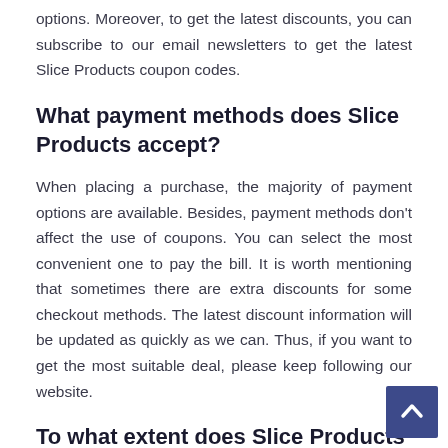options. Moreover, to get the latest discounts, you can subscribe to our email newsletters to get the latest Slice Products coupon codes.
What payment methods does Slice Products accept?
When placing a purchase, the majority of payment options are available. Besides, payment methods don't affect the use of coupons. You can select the most convenient one to pay the bill. It is worth mentioning that sometimes there are extra discounts for some checkout methods. The latest discount information will be updated as quickly as we can. Thus, if you want to get the most suitable deal, please keep following our website.
To what extent does Slice Products post promo codes on an ongoing basis
The Slice Products shop provides fresh discount codes